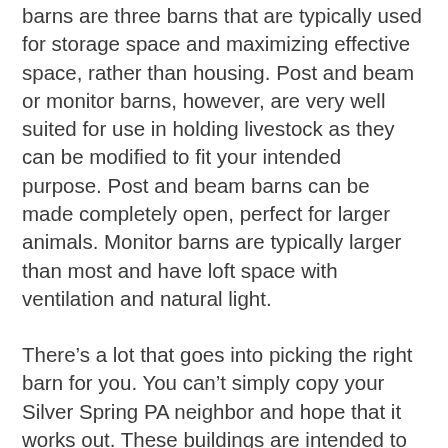barns are three barns that are typically used for storage space and maximizing effective space, rather than housing. Post and beam or monitor barns, however, are very well suited for use in holding livestock as they can be modified to fit your intended purpose. Post and beam barns can be made completely open, perfect for larger animals. Monitor barns are typically larger than most and have loft space with ventilation and natural light.
There’s a lot that goes into picking the right barn for you. You can’t simply copy your Silver Spring PA neighbor and hope that it works out. These buildings are intended to support the already difficult to manage farm-life that farmers live, and they need to be tailored to you. Make sure you do your research and know exactly the type of barn you need and its